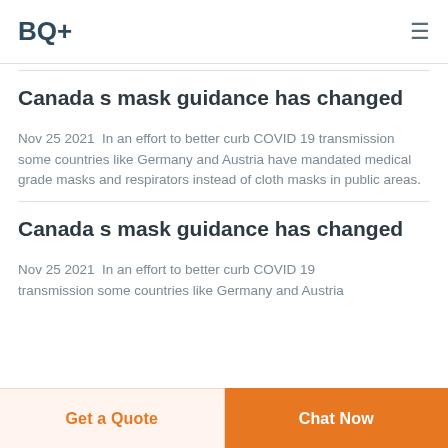BQ+
Canada s mask guidance has changed
Nov 25 2021  In an effort to better curb COVID 19 transmission some countries like Germany and Austria have mandated medical grade masks and respirators instead of cloth masks in public areas.
Canada s mask guidance has changed
Nov 25 2021  In an effort to better curb COVID 19 transmission some countries like Germany and Austria
Get a Quote | Chat Now